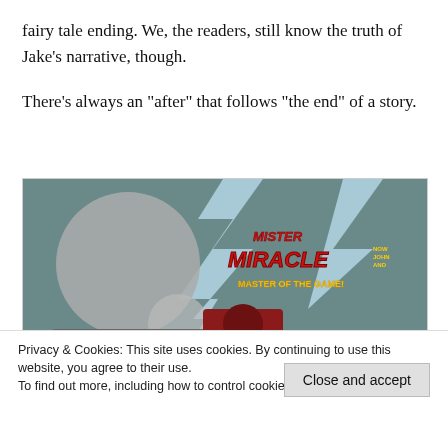fairy tale ending. We, the readers, still know the truth of Jake's narrative, though.
There's always an “after” that follows “the end” of a story.
[Figure (photo): Comic book cover for Mister Miracle 'Master of the Game' showing a villain figure with speech bubbles reading 'I KNOW WHO YOU ARE AND WHAT YOU ARE--' and '--AND I KNOW YOU'RE A PART OF WHAT'S HAPPENING OUTSIDE. I'M HERE TO ACCEPT YOUR']
Privacy & Cookies: This site uses cookies. By continuing to use this website, you agree to their use.
To find out more, including how to control cookies, see here: Cookie Policy
Close and accept